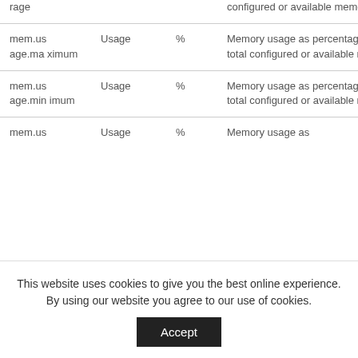| Name | Type | Unit | Description |
| --- | --- | --- | --- |
| rage |  |  | configured or available memory |
| mem.usage.maximum | Usage | % | Memory usage as percentage of total configured or available memory |
| mem.usage.minimum | Usage | % | Memory usage as percentage of total configured or available memory |
| mem.us age... | Usage | % | Memory usage as... |
This website uses cookies to give you the best online experience. By using our website you agree to our use of cookies.